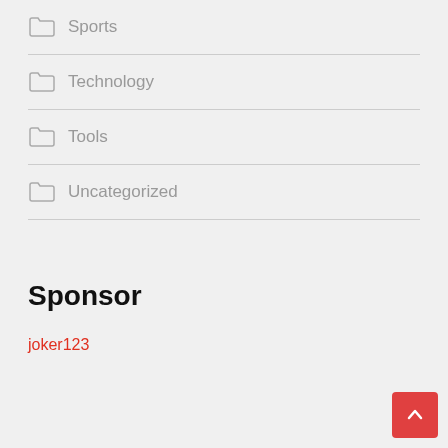Sports
Technology
Tools
Uncategorized
Sponsor
joker123